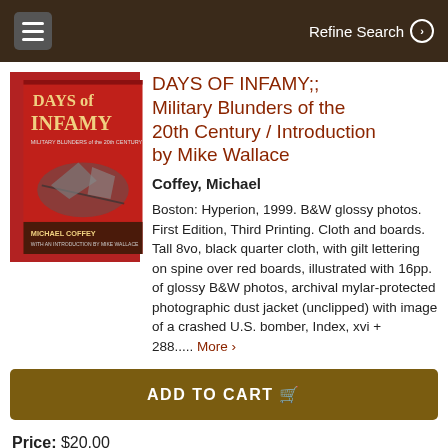Refine Search
[Figure (photo): Book cover of Days of Infamy: Military Blunders of the 20th Century by Michael Coffey, red cover with image of crashed plane]
DAYS OF INFAMY;; Military Blunders of the 20th Century / Introduction by Mike Wallace
Coffey, Michael
Boston: Hyperion, 1999. B&W glossy photos. First Edition, Third Printing. Cloth and boards. Tall 8vo, black quarter cloth, with gilt lettering on spine over red boards, illustrated with 16pp. of glossy B&W photos, archival mylar-protected photographic dust jacket (unclipped) with image of a crashed U.S. bomber, Index, xvi + 288..... More ›
ADD TO CART
Price: $20.00